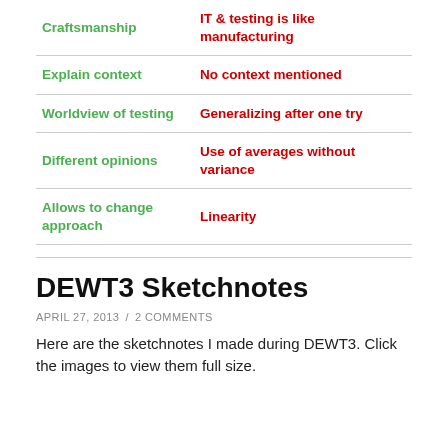|  |  |
| --- | --- |
| Craftsmanship | IT & testing is like manufacturing |
| Explain context | No context mentioned |
| Worldview of testing | Generalizing after one try |
| Different opinions | Use of averages without variance |
| Allows to change approach | Linearity |
DEWT3 Sketchnotes
APRIL 27, 2013 / 2 COMMENTS
Here are the sketchnotes I made during DEWT3. Click the images to view them full size.